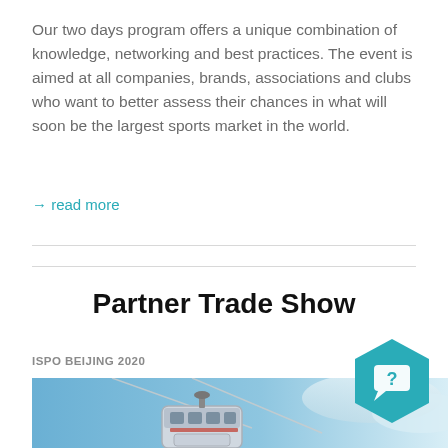Our two days program offers a unique combination of knowledge, networking and best practices. The event is aimed at all companies, brands, associations and clubs who want to better assess their chances in what will soon be the largest sports market in the world.
→ read more
Partner Trade Show
ISPO BEIJING 2020
[Figure (photo): Photo of ski gondola/cable car equipment against a blue sky with clouds, partially visible at bottom of page. A teal hexagonal chat/help button with a question mark is overlaid in the bottom right area.]